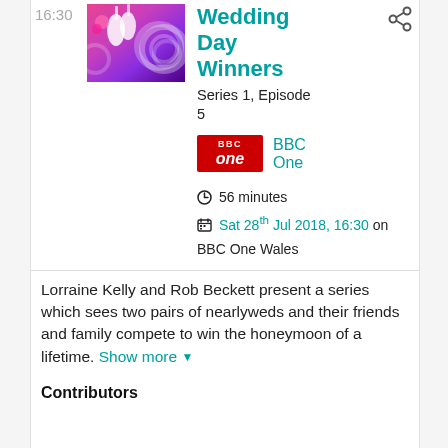16:30
[Figure (photo): Thumbnail image of Wedding Day Winners show — colorful pink and purple decorative background with hanging items]
Wedding Day Winners
Series 1, Episode 5
[Figure (logo): BBC One red logo badge]
BBC One
56 minutes
Sat 28th Jul 2018, 16:30 on BBC One Wales
Lorraine Kelly and Rob Beckett present a series which sees two pairs of nearlyweds and their friends and family compete to win the honeymoon of a lifetime. Show more
Contributors